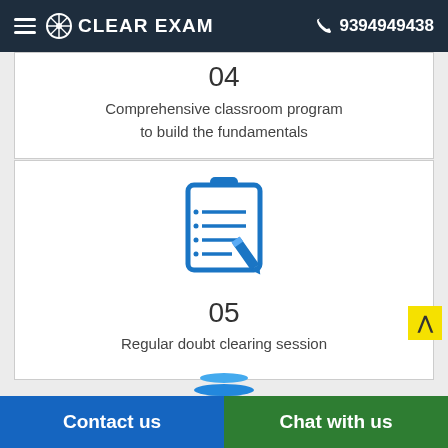CLEAR EXAM  9394949438
04
Comprehensive classroom program to build the fundamentals
[Figure (illustration): Blue clipboard with checklist lines and a pencil icon]
05
Regular doubt clearing session
Contact us   Chat with us